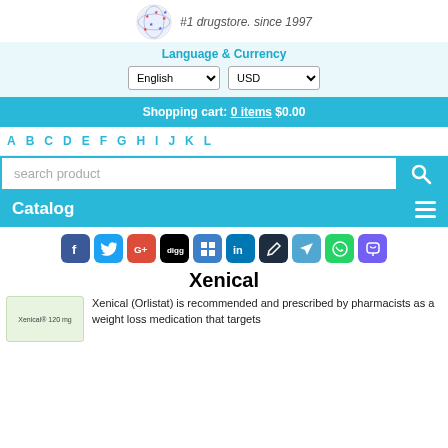#1 drugstore. since 1997
Language & Currency
Shopping cart: 0 items $0.00
A B C D E F G H I J K L
[Figure (screenshot): Search product input box with cyan search button]
Catalog
[Figure (infographic): Social media sharing icons: Facebook, Twitter, Google+, Digg, Delicious, LinkedIn, Pencil, Telegram, WhatsApp, Viber]
Xenical
Xenical (Orlistat) is recommended and prescribed by pharmacists as a weight loss medication that targets